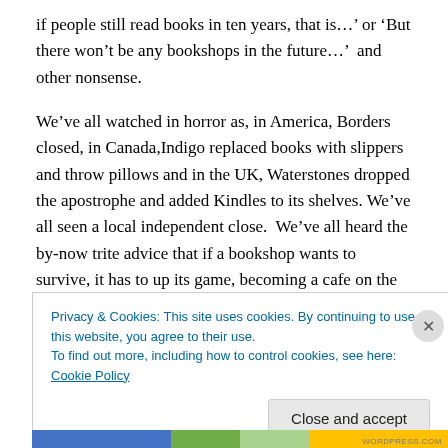if people still read books in ten years, that is…' or 'But there won't be any bookshops in the future…' and other nonsense.

We've all watched in horror as, in America, Borders closed, in Canada,Indigo replaced books with slippers and throw pillows and in the UK, Waterstones dropped the apostrophe and added Kindles to its shelves. We've all seen a local independent close.  We've all heard the by-now trite advice that if a bookshop wants to survive, it has to up its game, becoming a cafe on the side and selling
Privacy & Cookies: This site uses cookies. By continuing to use this website, you agree to their use.
To find out more, including how to control cookies, see here: Cookie Policy
Close and accept